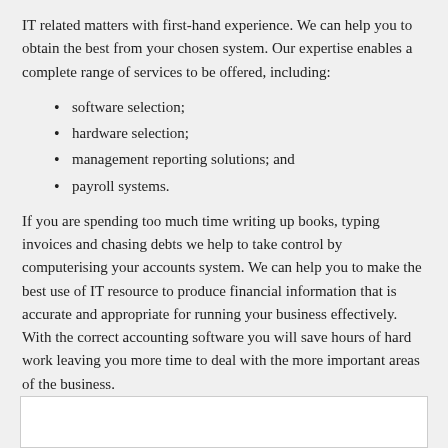IT related matters with first-hand experience. We can help you to obtain the best from your chosen system. Our expertise enables a complete range of services to be offered, including:
software selection;
hardware selection;
management reporting solutions; and
payroll systems.
If you are spending too much time writing up books, typing invoices and chasing debts we help to take control by computerising your accounts system. We can help you to make the best use of IT resource to produce financial information that is accurate and appropriate for running your business effectively. With the correct accounting software you will save hours of hard work leaving you more time to deal with the more important areas of the business.
In short, whether you are investing in new technology, reviewing existing systems or have simply outgrown your current resource, we can help.
[Figure (other): White rectangular box at the bottom of the page]